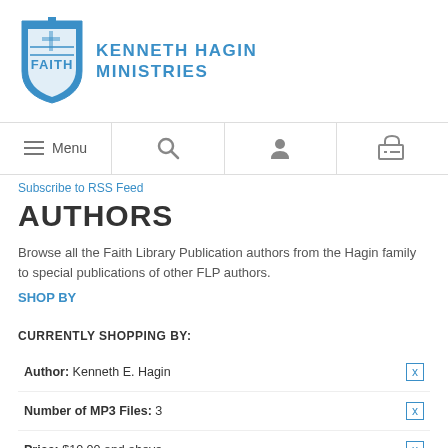[Figure (logo): Kenneth Hagin Ministries logo with blue shield and cross, alongside text 'KENNETH HAGIN MINISTRIES' in blue]
Menu | Search | Account | Cart navigation bar
Subscribe to RSS Feed
AUTHORS
Browse all the Faith Library Publication authors from the Hagin family to special publications of other FLP authors.
SHOP BY
CURRENTLY SHOPPING BY:
Author: Kenneth E. Hagin  x
Number of MP3 Files: 3  x
Price: $10.00 and above  x